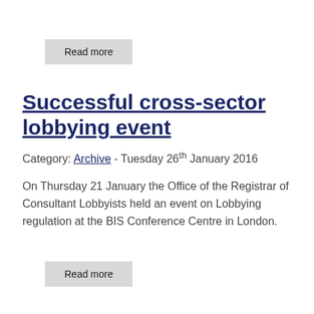Read more
Successful cross-sector lobbying event
Category: Archive - Tuesday 26th January 2016
On Thursday 21 January the Office of the Registrar of Consultant Lobbyists held an event on Lobbying regulation at the BIS Conference Centre in London.
Read more